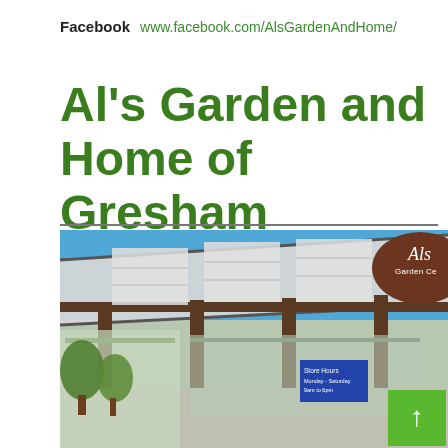Facebook  www.facebook.com/AlsGardenAndHome/
Al's Garden and Home of Gresham
[Figure (photo): Exterior photo of Al's Garden Center in Gresham showing a pergola structure with translucent roof panels under a blue sky, with the Al's Garden Center sign visible in the upper right. A green building with store hours sign is visible in the background, and a green scroll-to-top button appears in the lower right corner.]